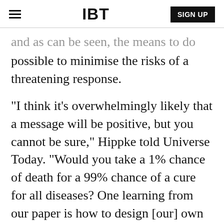IBT | SIGN UP
and as can be seen, the means to do so, if possible to minimise the risks of a threatening response.
"I think it's overwhelmingly likely that a message will be positive, but you cannot be sure," Hippke told Universe Today. "Would you take a 1% chance of death for a 99% chance of a cure for all diseases? One learning from our paper is how to design [our] own message, in case we decide to send any: Keep it simple, don't send computer code."